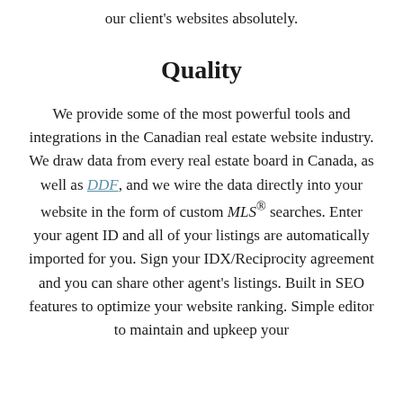our client's websites absolutely.
Quality
We provide some of the most powerful tools and integrations in the Canadian real estate website industry. We draw data from every real estate board in Canada, as well as DDF, and we wire the data directly into your website in the form of custom MLS® searches. Enter your agent ID and all of your listings are automatically imported for you. Sign your IDX/Reciprocity agreement and you can share other agent's listings. Built in SEO features to optimize your website ranking. Simple editor to maintain and upkeep your